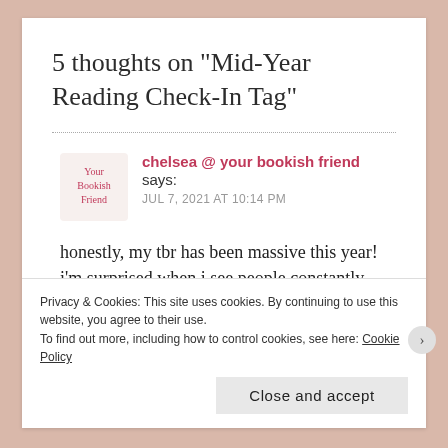5 thoughts on “Mid-Year Reading Check-In Tag”
chelsea @ your bookish friend says:
JUL 7, 2021 AT 10:14 PM
honestly, my tbr has been massive this year! i’m surprised when i see people constantly rereading!
(i’ve only done 1, and it feels like too much)
Privacy & Cookies: This site uses cookies. By continuing to use this website, you agree to their use.
To find out more, including how to control cookies, see here: Cookie Policy
Close and accept